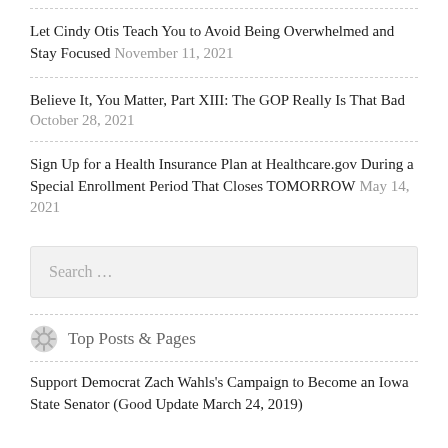Let Cindy Otis Teach You to Avoid Being Overwhelmed and Stay Focused November 11, 2021
Believe It, You Matter, Part XIII: The GOP Really Is That Bad October 28, 2021
Sign Up for a Health Insurance Plan at Healthcare.gov During a Special Enrollment Period That Closes TOMORROW May 14, 2021
Search …
Top Posts & Pages
Support Democrat Zach Wahls's Campaign to Become an Iowa State Senator (Good Update March 24, 2019)